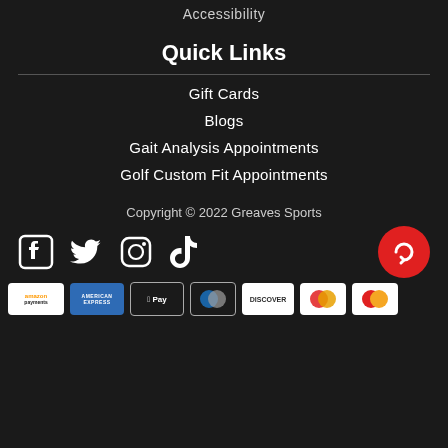Accessibility
Quick Links
Gift Cards
Blogs
Gait Analysis Appointments
Golf Custom Fit Appointments
Copyright © 2022 Greaves Sports
[Figure (logo): Social media icons: Facebook, Twitter, Instagram, TikTok, and a red Greaves Sports circular button]
[Figure (logo): Payment method logos: Amazon Payments, American Express, Apple Pay, Diners Club/Discover, Discover, Maestro, MasterCard]